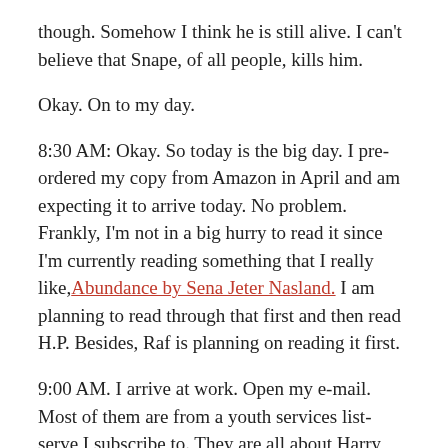though. Somehow I think he is still alive. I can't believe that Snape, of all people, kills him.
Okay. On to my day.
8:30 AM: Okay. So today is the big day. I pre-ordered my copy from Amazon in April and am expecting it to arrive today. No problem. Frankly, I'm not in a big hurry to read it since I'm currently reading something that I really like, Abundance by Sena Jeter Nasland. I am planning to read through that first and then read H.P. Besides, Raf is planning on reading it first.
9:00 AM. I arrive at work. Open my e-mail. Most of them are from a youth services list-serve I subscribe to. They are all about Harry Potter. I read through a few of them. Okay. I'm getting kind of excited.